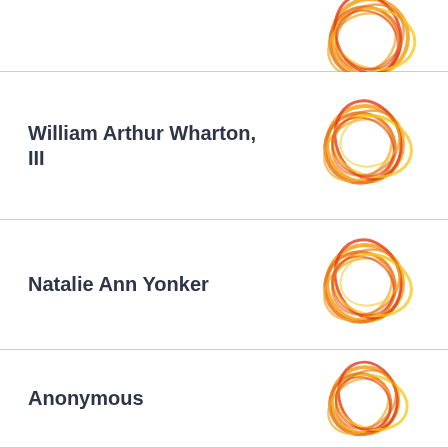[Figure (logo): Decorative circular swirl logo partially visible at top]
William Arthur Wharton, III
[Figure (logo): Decorative circular swirl logo in orange/yellow/red colors]
Natalie Ann Yonker
[Figure (logo): Decorative circular swirl logo in orange/yellow/red colors]
Anonymous
[Figure (logo): Decorative circular swirl logo in orange/yellow/red colors]